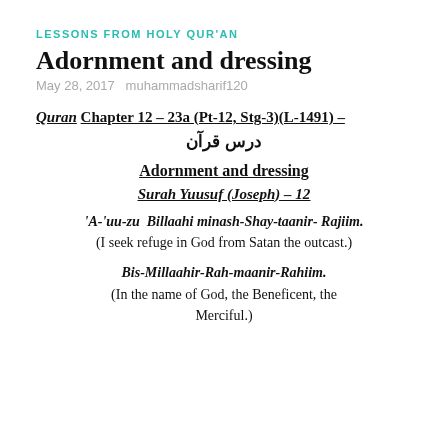LESSONS FROM HOLY QUR'AN
Adornment and dressing
May 28, 2017   muhammadsharif120
Quran Chapter 12 – 23a (Pt-12, Stg-3)(L-1491) – درس قرآن
Adornment and dressing
Surah Yuusuf (Joseph) – 12
'A-'uu-zu  Billaahi minash-Shay-taanir- Rajiim.
(I seek refuge in God from Satan the outcast.)
Bis-Millaahir-Rah-maanir-Rahiim.
(In the name of God, the Beneficent, the Merciful.)